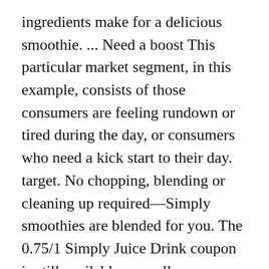ingredients make for a delicious smoothie. ... Need a boost This particular market segment, in this example, consists of those consumers are feeling rundown or tired during the day, or consumers who need a kick start to their day. target. No chopping, blending or cleaning up required—Simply smoothies are blended for you. The 0.75/1 Simply Juice Drink coupon is still available, as well as a savings offer from Cartwheel to get you a great deal through Sunday, 7/11/2015:. Strawberry banana. Simply smoothies bring consumers the healthy delight of a delicious smoothie without the assortment of supplies needed to make a smoothie at home, proving that “The Best Things in Life Are Made Simply,” including smoothies. Nobody